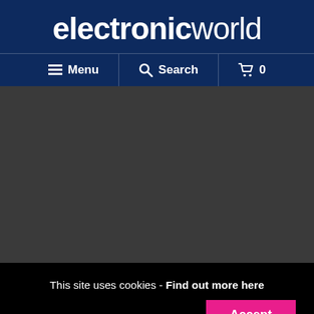electronicworld
≡ Menu | Search | 🛒 0
[Figure (screenshot): Dark grey placeholder content area]
This site uses cookies - Find out more here
Accept